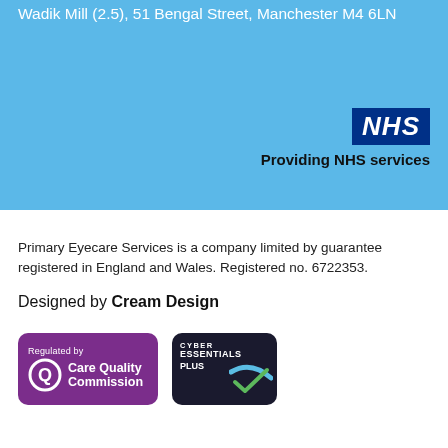Wadik Mill (2.5), 51 Bengal Street, Manchester M4 6LN
[Figure (logo): NHS logo — dark blue rectangle with white bold italic NHS text, followed by 'Providing NHS services' in bold black text]
Primary Eyecare Services is a company limited by guarantee registered in England and Wales. Registered no. 6722353.
Designed by Cream Design
[Figure (logo): Care Quality Commission logo — purple rounded rectangle badge with 'Regulated by' text, Q circle mark, and 'Care Quality Commission' text in white]
[Figure (logo): Cyber Essentials Plus badge — dark navy rounded rectangle with 'CYBER ESSENTIALS PLUS' text and a tick/checkmark icon with light blue swoosh]